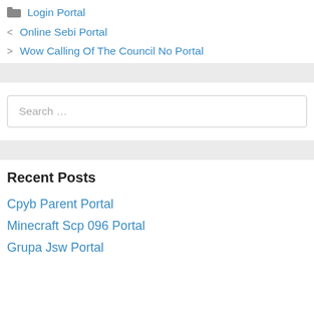Login Portal
Online Sebi Portal
Wow Calling Of The Council No Portal
Search ...
Recent Posts
Cpyb Parent Portal
Minecraft Scp 096 Portal
Grupa Jsw Portal